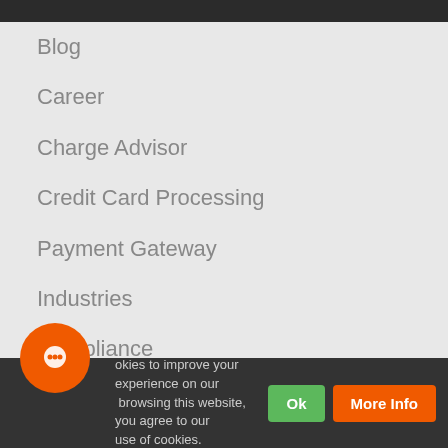Blog
Career
Charge Advisor
Credit Card Processing
Payment Gateway
Industries
Compliance
About Us
Solutions
okies to improve your experience on our browsing this website, you agree to our use of cookies.